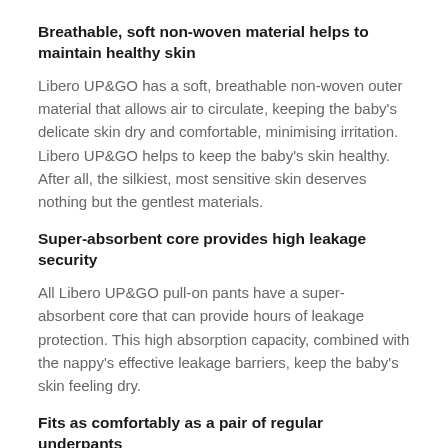Breathable, soft non-woven material helps to maintain healthy skin
Libero UP&GO has a soft, breathable non-woven outer material that allows air to circulate, keeping the baby's delicate skin dry and comfortable, minimising irritation. Libero UP&GO helps to keep the baby's skin healthy. After all, the silkiest, most sensitive skin deserves nothing but the gentlest materials.
Super-absorbent core provides high leakage security
All Libero UP&GO pull-on pants have a super-absorbent core that can provide hours of leakage protection. This high absorption capacity, combined with the nappy's effective leakage barriers, keep the baby's skin feeling dry.
Fits as comfortably as a pair of regular underpants
Libero UP&GO pull-on pants are made from soft material, gentle against the baby's skin. Elastics around the waist and